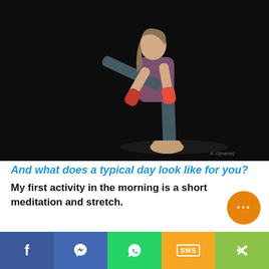[Figure (photo): A female kickboxer in athletic wear (purple sports bra, gray speckled leggings, red hand wraps, tan sneakers) performing a high side kick against a dark/black studio background.]
And what does a typical day look like for you?
My first activity in the morning is a short meditation and stretch.